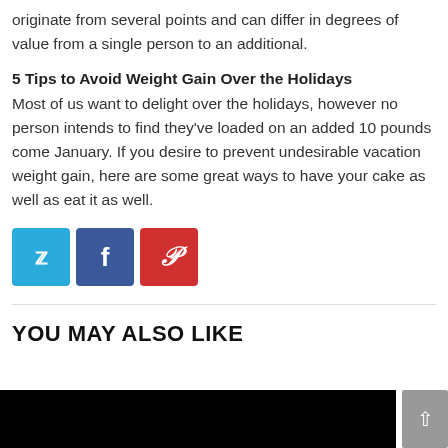originate from several points and can differ in degrees of value from a single person to an additional.
5 Tips to Avoid Weight Gain Over the Holidays
Most of us want to delight over the holidays, however no person intends to find they've loaded on an added 10 pounds come January. If you desire to prevent undesirable vacation weight gain, here are some great ways to have your cake as well as eat it as well.
[Figure (infographic): Social sharing buttons: Twitter (blue), Facebook (dark blue), Pinterest (red)]
YOU MAY ALSO LIKE
[Figure (photo): Black image bar at bottom of page with scroll-to-top button]